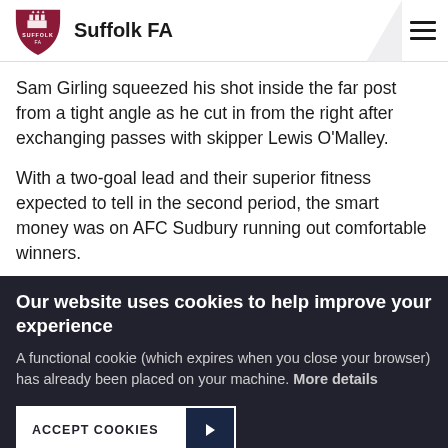Suffolk FA
Sam Girling squeezed his shot inside the far post from a tight angle as he cut in from the right after exchanging passes with skipper Lewis O'Malley.
With a two-goal lead and their superior fitness expected to tell in the second period, the smart money was on AFC Sudbury running out comfortable winners.
Our website uses cookies to help improve your experience
A functional cookie (which expires when you close your browser) has already been placed on your machine. More details
ACCEPT COOKIES